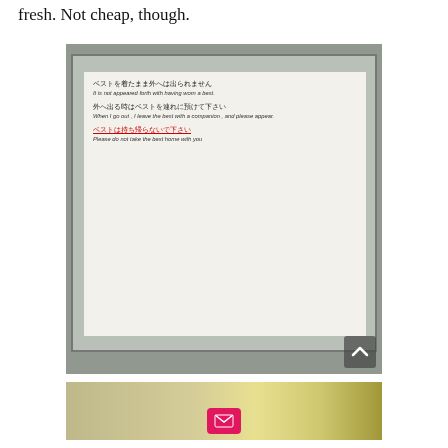fresh. Not cheap, though.
[Figure (photo): Photo of a sign posted on a board with Japanese and English text about not taking a vest outside or home. Japanese: ベストを着たまま外へは出られません / It is not appeared forth with having worn a best. 外へ出る時はベストを連れに預けて下さい / When I go out , I leave the best with a companion , and please appear. ベストは持ち帰らないで下さい (underlined in red) / Please do not take the best home with you]
[Figure (photo): Partial view of another photo showing a room interior, cropped at bottom of page]